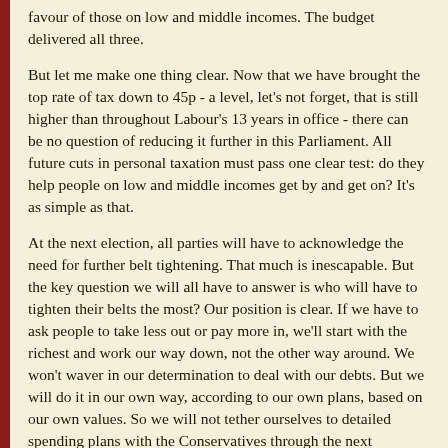favour of those on low and middle incomes. The budget delivered all three.
But let me make one thing clear. Now that we have brought the top rate of tax down to 45p - a level, let's not forget, that is still higher than throughout Labour's 13 years in office - there can be no question of reducing it further in this Parliament. All future cuts in personal taxation must pass one clear test: do they help people on low and middle incomes get by and get on? It's as simple as that.
At the next election, all parties will have to acknowledge the need for further belt tightening. That much is inescapable. But the key question we will all have to answer is who will have to tighten their belts the most? Our position is clear. If we have to ask people to take less out or pay more in, we'll start with the richest and work our way down, not the other way around. We won't waver in our determination to deal with our debts. But we will do it in our own way, according to our own plans, based on our own values. So we will not tether ourselves to detailed spending plans with the Conservatives through the next Parliament.
Colleagues, we should be proud of the fact we have